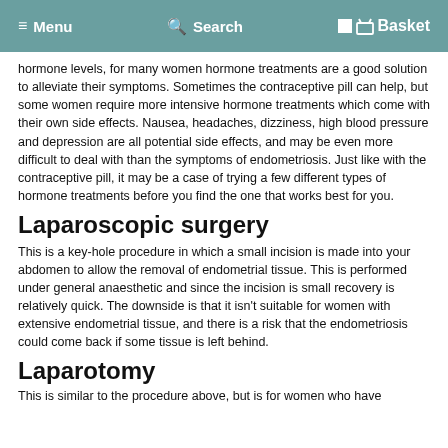Menu  Search  Basket
hormone levels, for many women hormone treatments are a good solution to alleviate their symptoms. Sometimes the contraceptive pill can help, but some women require more intensive hormone treatments which come with their own side effects. Nausea, headaches, dizziness, high blood pressure and depression are all potential side effects, and may be even more difficult to deal with than the symptoms of endometriosis. Just like with the contraceptive pill, it may be a case of trying a few different types of hormone treatments before you find the one that works best for you.
Laparoscopic surgery
This is a key-hole procedure in which a small incision is made into your abdomen to allow the removal of endometrial tissue. This is performed under general anaesthetic and since the incision is small recovery is relatively quick. The downside is that it isn't suitable for women with extensive endometrial tissue, and there is a risk that the endometriosis could come back if some tissue is left behind.
Laparotomy
This is similar to the procedure above, but is for women who have